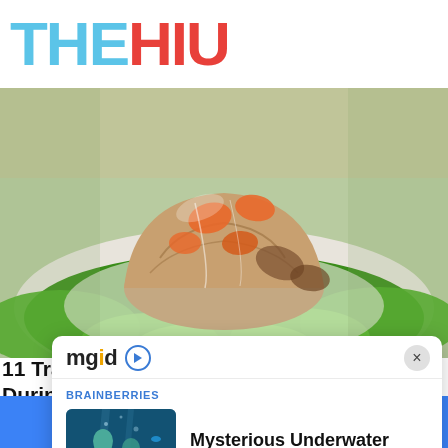[Figure (logo): THEHIU logo — THE in light blue, HIU in red, bold block letters]
[Figure (photo): Close-up food photo of a Ukrainian meat aspic (kholodets) mold garnished with lettuce leaves and orange carrot pieces on a white plate]
11 Traditional Ukrainian Dishes To Try During Your Trip
[Figure (screenshot): MGID ad widget popup with close button, showing a Brainberries article card: 'Mysterious Underwater Objects Most People Don't Know About' with thumbnail of underwater statues]
[Figure (logo): Facebook and Twitter social share buttons on a blue bar at the bottom]